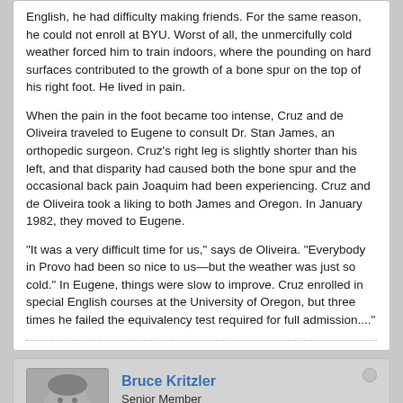English, he had difficulty making friends. For the same reason, he could not enroll at BYU. Worst of all, the unmercifully cold weather forced him to train indoors, where the pounding on hard surfaces contributed to the growth of a bone spur on the top of his right foot. He lived in pain.

When the pain in the foot became too intense, Cruz and de Oliveira traveled to Eugene to consult Dr. Stan James, an orthopedic surgeon. Cruz's right leg is slightly shorter than his left, and that disparity had caused both the bone spur and the occasional back pain Joaquim had been experiencing. Cruz and de Oliveira took a liking to both James and Oregon. In January 1982, they moved to Eugene.

"It was a very difficult time for us," says de Oliveira. "Everybody in Provo had been so nice to us—but the weather was just so cold." In Eugene, things were slow to improve. Cruz enrolled in special English courses at the University of Oregon, but three times he failed the equivalency test required for full admission...."
Bruce Kritzler
Senior Member
Join Date: Oct 2005   Posts: 4624
10-21-2009, 04:18 AM
#4